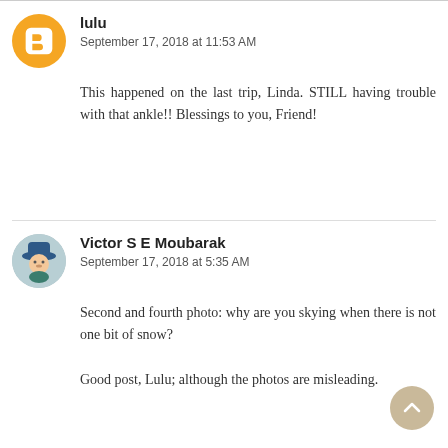lulu
September 17, 2018 at 11:53 AM
This happened on the last trip, Linda. STILL having trouble with that ankle!! Blessings to you, Friend!
Victor S E Moubarak
September 17, 2018 at 5:35 AM
Second and fourth photo: why are you skying when there is not one bit of snow?
Good post, Lulu; although the photos are misleading.